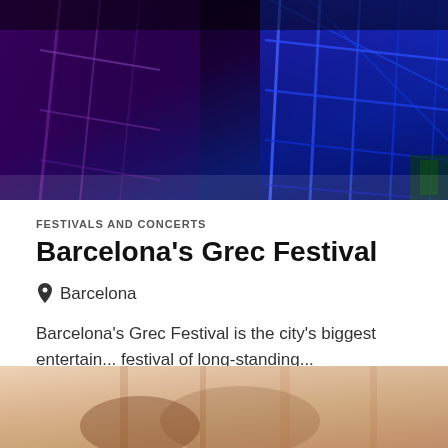[Figure (photo): Dark stage photo with purple and blue lighting, showing scaffolding or stage rigging structures with colorful illumination]
FESTIVALS AND CONCERTS
Barcelona's Grec Festival
Barcelona
Barcelona's Grec Festival is the city's biggest entertain... festival of long-standing...
[Figure (photo): Partial bottom image showing warm-toned, blurred scene with wooden or architectural elements]